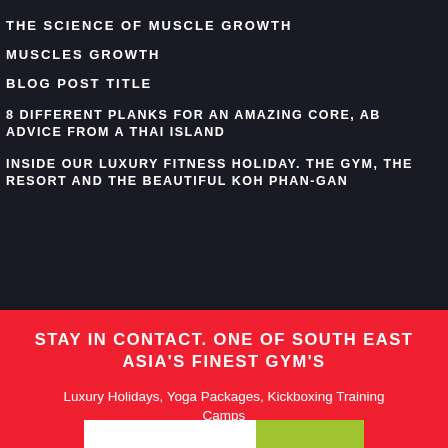THE SCIENCE OF MUSCLE GROWTH
MUSCLES GROWTH
BLOG POST TITLE
8 DIFFERENT PLANKS FOR AN AMAZING CORE, AB ADVICE FROM A THAI ISLAND
INSIDE OUR LUXURY FITNESS HOLIDAY. THE GYM, THE RESORT AND THE BEAUTIFUL KOH PHAN-GAN
STAY IN CONTACT. ONE OF SOUTH EAST ASIA'S FINEST GYM'S
Luxury Holidays, Yoga Packages, Kickboxing Training Camps